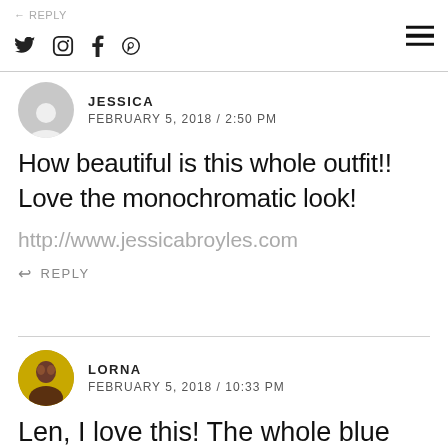← REPLY | Twitter Instagram Facebook Pinterest | ☰
JESSICA
FEBRUARY 5, 2018 / 2:50 PM
How beautiful is this whole outfit!! Love the monochromatic look!
http://www.jessicabroyles.com
↩ REPLY
LORNA
FEBRUARY 5, 2018 / 10:33 PM
Len, I love this! The whole blue